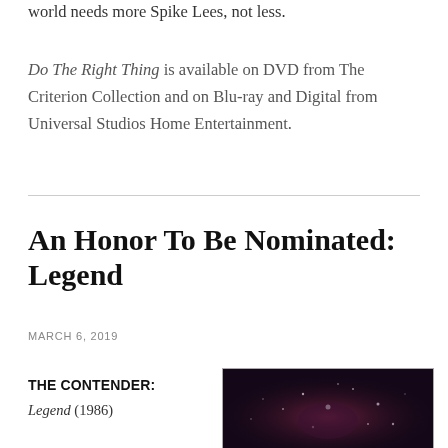world needs more Spike Lees, not less.
Do The Right Thing is available on DVD from The Criterion Collection and on Blu-ray and Digital from Universal Studios Home Entertainment.
An Honor To Be Nominated: Legend
MARCH 6, 2019
THE CONTENDER: Legend (1986)
[Figure (photo): Dark scene from the film Legend (1986) showing a figure with glowing/starlike lights against a dark reddish-purple background]